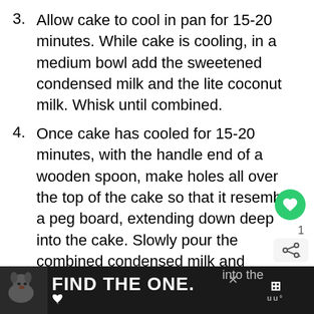3. Allow cake to cool in pan for 15-20 minutes. While cake is cooling, in a medium bowl add the sweetened condensed milk and the lite coconut milk. Whisk until combined.
4. Once cake has cooled for 15-20 minutes, with the handle end of a wooden spoon, make holes all over the top of the cake so that it resembles a peg board, extending down deep into the cake. Slowly pour the combined condensed milk and coconut milk mixture evenly over the top of the
[Figure (other): Ad banner at bottom: dark background with dog photo on left, text FIND THE ONE. in large bold white letters, close button X, and share/save icons on right]
[Figure (other): UI overlay: green heart/save button circle, number badge 1, and share icon button on right side of page]